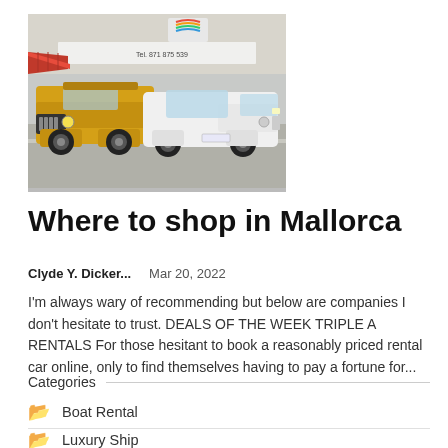[Figure (photo): Photograph of two cars parked in front of a rental shop storefront. A yellow Jeep Wrangler on the left and a white Mazda sedan on the right. A sign above reads 'Tel. 871 875 539'. Red awnings visible in the background.]
Where to shop in Mallorca
Clyde Y. Dicker...    Mar 20, 2022
I'm always wary of recommending but below are companies I don't hesitate to trust. DEALS OF THE WEEK TRIPLE A RENTALS For those hesitant to book a reasonably priced rental car online, only to find themselves having to pay a fortune for...
Categories
Boat Rental
Luxury Ship